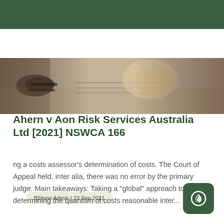[Figure (photo): Close-up photo of hands writing on paper with glasses nearby on a wooden desk, hero banner image]
BStone Admin | 23 Sep 2021
Ahern v Aon Risk Services Australia Ltd [2021] NSWCA 166
ng a costs assessor's determination of costs. The Court of Appeal held, inter alia, there was no error by the primary judge. Main takeaways: Taking a "global" approach to determining the quantum of costs reasonable inter...